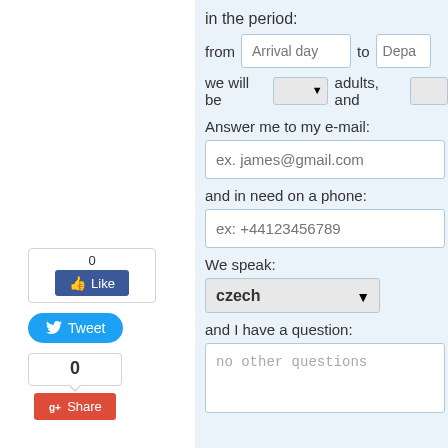in the period:
from  Arrival day  to  Depa
we will be  [dropdown] adults, and [dropdown]
Answer me to my e-mail:
ex. james@gmail.com
and in need on a phone:
ex: +44123456789
We speak:
czech
and I have a question:
no other questions
[Figure (screenshot): Facebook Like button showing count 0 and blue Like button]
[Figure (screenshot): Twitter Tweet button in blue]
[Figure (screenshot): Google+ Share button showing count 0 and red Share button]